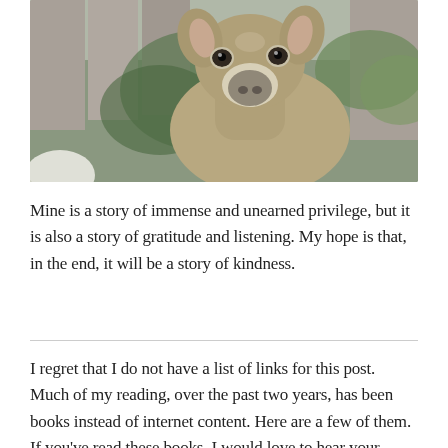[Figure (photo): Close-up photograph of a white-tailed deer looking directly at the camera, with green foliage and a wooden fence visible in the background.]
Mine is a story of immense and unearned privilege, but it is also a story of gratitude and listening. My hope is that, in the end, it will be a story of kindness.
I regret that I do not have a list of links for this post. Much of my reading, over the past two years, has been books instead of internet content. Here are a few of them. If you've read these books, I would love to hear your thoughts. Recommendations for further reading are always welcome.